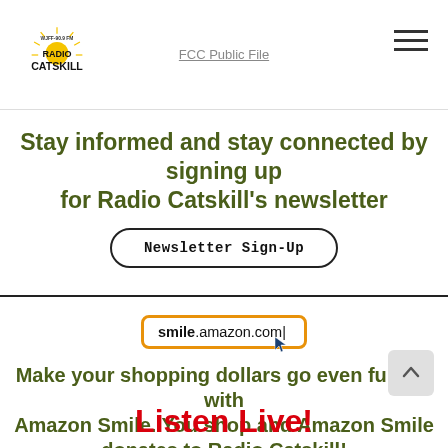Radio Catskill — FCC Public File
Stay informed and stay connected by signing up for Radio Catskill's newsletter
Newsletter Sign-Up
[Figure (screenshot): smile.amazon.com URL bar with orange border and cursor]
Make your shopping dollars go even further with Amazon Smile. You shop and Amazon Smile donates to Radio Catskill!
Listen Live!